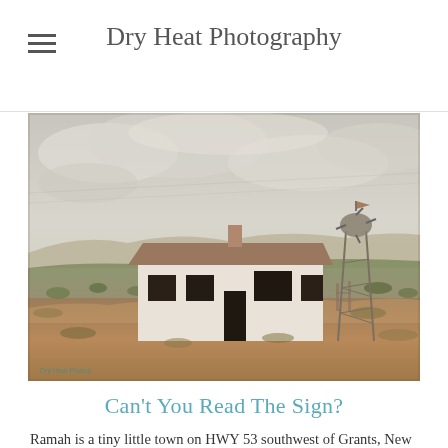Dry Heat Photography
[Figure (photo): Abandoned white adobe house on a desert hillside with scrub brush in New Mexico, with a windmill tower to the right, under a cloudy overcast sky. Small watermark text in lower left corner.]
Can't You Read The Sign?
Ramah is a tiny little town on HWY 53 southwest of Grants, New Mexico. In and of itself, it is not a place worth traveling to, but it is on the way to some more